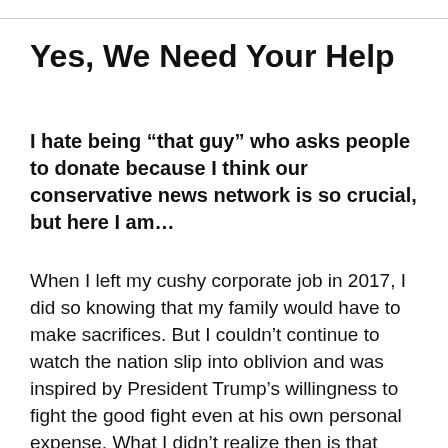Yes, We Need Your Help
I hate being “that guy” who asks people to donate because I think our conservative news network is so crucial, but here I am…
When I left my cushy corporate job in 2017, I did so knowing that my family would have to make sacrifices. But I couldn’t continue to watch the nation slip into oblivion and was inspired by President Trump’s willingness to fight the good fight even at his own personal expense. What I didn’t realize then is that conservative media would be so heavily attacked, canceled, and defunded that the sacrifices would be extreme.